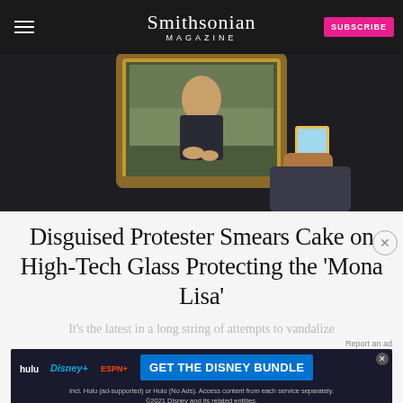Smithsonian MAGAZINE
[Figure (photo): Person photographing the Mona Lisa painting at the Louvre with a smartphone, painting displayed in ornate gold frame against dark wall]
Disguised Protester Smears Cake on High-Tech Glass Protecting the 'Mona Lisa'
It's the latest in a long string of attempts to vandalize the world's most famous painting.
May 31, 2022